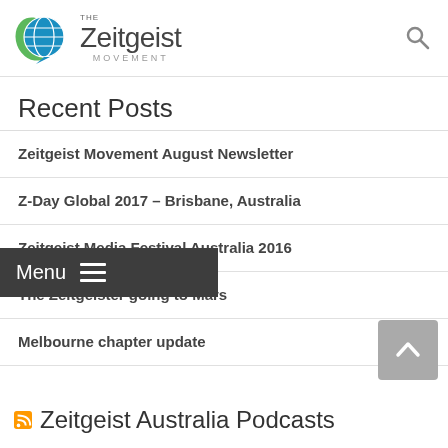The Zeitgeist Movement
Recent Posts
Zeitgeist Movement August Newsletter
Z-Day Global 2017 – Brisbane, Australia
Zeitgeist Media Festival Australia 2016
The Zeitgeister going to Mars
Melbourne chapter update
Zeitgeist Australia Podcasts